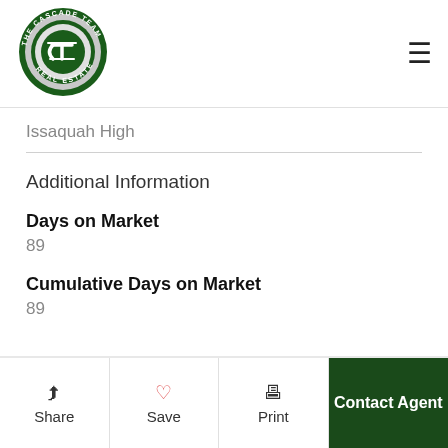[Figure (logo): The Cascade Team Real Estate circular logo with green and silver colors]
Issaquah High
Additional Information
Days on Market
89
Cumulative Days on Market
89
Share  Save  Print  Contact Agent